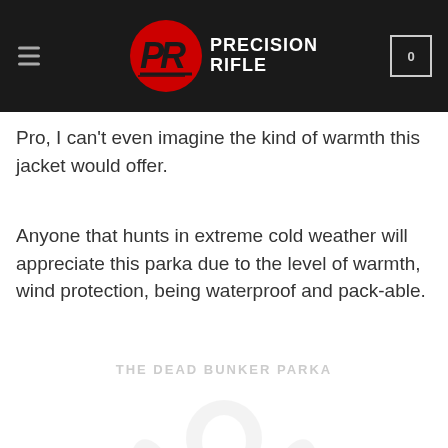Precision Rifle — navigation header with logo and cart icon
Pro, I can't even imagine the kind of warmth this jacket would offer.
Anyone that hunts in extreme cold weather will appreciate this parka due to the level of warmth, wind protection, being waterproof and pack-able.
[Figure (photo): Faded watermark-style product image of a parka jacket with text 'THE DEADBUNKER PARKA' overlaid in light gray]